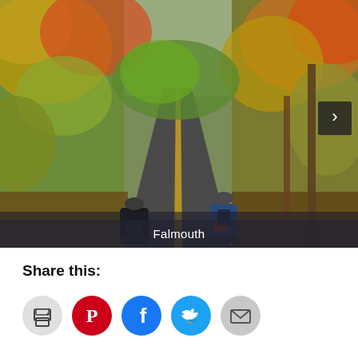[Figure (photo): Two cyclists riding away from camera on a paved winding path through an autumn forest with colorful foliage (yellows, oranges, reds). Brown leaves on the ground. A yellow center line on the path. The caption 'Falmouth' overlays the bottom of the image. A right-arrow navigation button is visible in the lower right of the image.]
Falmouth
Share this: